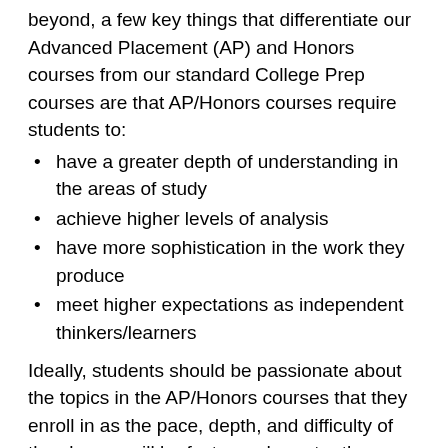beyond, a few key things that differentiate our Advanced Placement (AP) and Honors courses from our standard College Prep courses are that AP/Honors courses require students to:
have a greater depth of understanding in the areas of study
achieve higher levels of analysis
have more sophistication in the work they produce
meet higher expectations as independent thinkers/learners
Ideally, students should be passionate about the topics in the AP/Honors courses that they enroll in as the pace, depth, and difficulty of the classes will be faster and greater than College Prep courses. Students in AP and Honors classes should be more invested in the material and maintain a higher focus during class.